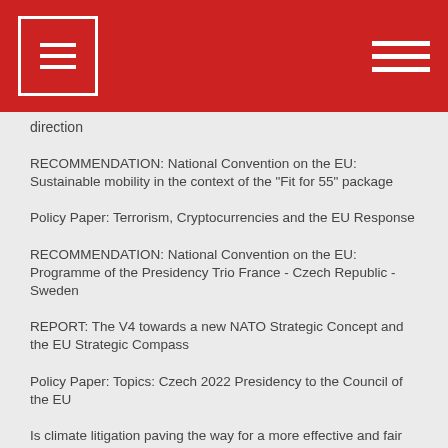direction
RECOMMENDATION: National Convention on the EU: Sustainable mobility in the context of the "Fit for 55" package
Policy Paper: Terrorism, Cryptocurrencies and the EU Response
RECOMMENDATION: National Convention on the EU: Programme of the Presidency Trio France - Czech Republic - Sweden
REPORT: The V4 towards a new NATO Strategic Concept and the EU Strategic Compass
Policy Paper: Topics: Czech 2022 Presidency to the Council of the EU
Is climate litigation paving the way for a more effective and fair climate governance?
EU MONITOR: Conference on the Future of Europe: Czech Perspective